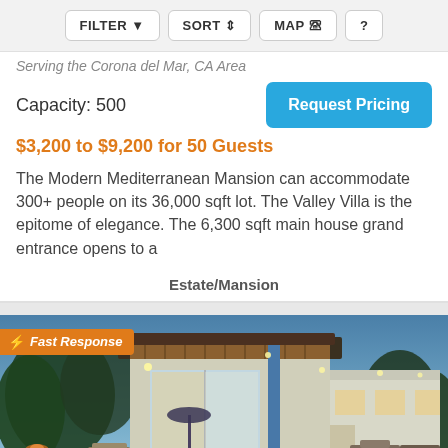FILTER   SORT   MAP   ?
Serving the Corona del Mar, CA Area
Capacity: 500
$3,200 to $9,200 for 50 Guests
The Modern Mediterranean Mansion can accommodate 300+ people on its 36,000 sqft lot. The Valley Villa is the epitome of elegance. The 6,300 sqft main house grand entrance opens to a
Estate/Mansion
[Figure (photo): Exterior photo of a modern Mediterranean mansion at dusk with pool, outdoor seating, and illuminated interior. Fast Response badge visible in top left corner.]